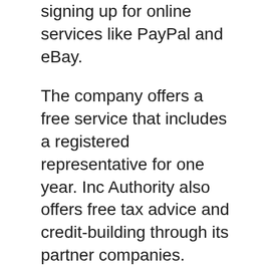signing up for online services like PayPal and eBay.
The company offers a free service that includes a registered representative for one year. Inc Authority also offers free tax advice and credit-building through its partner companies. There are many pricing options available from Inc Authority, so it is important that you understand your needs. Luckily, the company's website also offers tiered pricing to meet a variety of budgets. The company offers free registration, a free registered agent service for one year, and a $99 per annum subscription for all its services. This is a price well below the market average, and among the lowest rates for registered agent services.